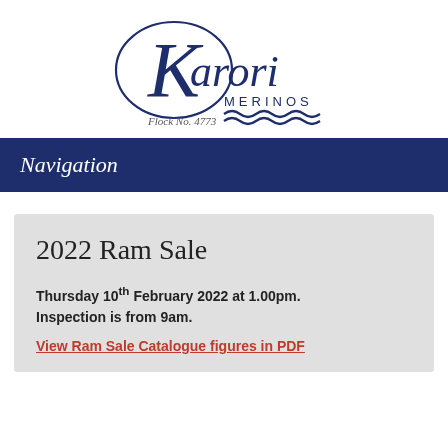[Figure (logo): Karori Merinos logo with stylized K, script text 'Karori', 'MERINOS', wave decoration, and 'Flock No. 4773']
Navigation
2022 Ram Sale
Thursday 10th February 2022 at 1.00pm. Inspection is from 9am.
View Ram Sale Catalogue figures in PDF